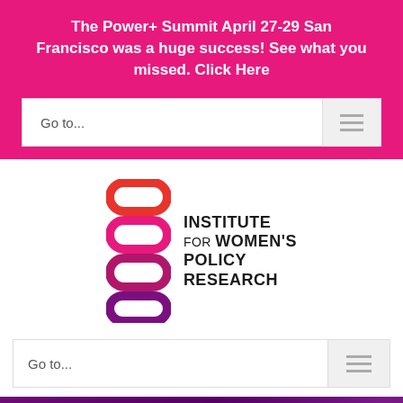The Power+ Summit April 27-29 San Francisco was a huge success! See what you missed. Click Here
[Figure (screenshot): Navigation bar with 'Go to...' text and hamburger menu icon]
[Figure (logo): Institute for Women's Policy Research logo with stacked oval shapes in red, pink, and purple gradient]
[Figure (screenshot): Second navigation bar with 'Go to...' text and hamburger menu icon]
Megan Rapinoe